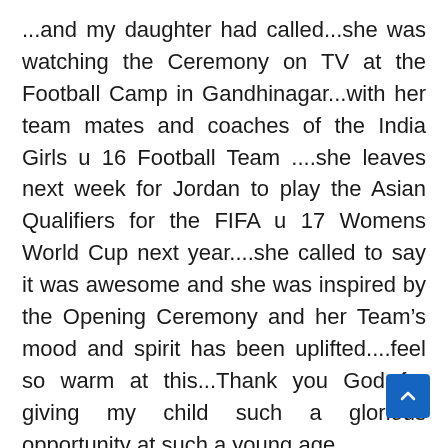...and my daughter had called...she was watching the Ceremony on TV at the Football Camp in Gandhinagar...with her team mates and coaches of the India Girls u 16 Football Team ....she leaves next week for Jordan to play the Asian Qualifiers for the FIFA u 17 Womens World Cup next year....she called to say it was awesome and she was inspired by the Opening Ceremony and her Team's mood and spirit has been uplifted....feel so warm at this...Thank you God for giving my child such a glorious opportunity at such a young age
We've had addresses by Games Heads,Suresh Kalmadi and Mike Fennel....and Prime Minister Manmohan Singh....then we had the Queens Baton Relay...the Baton was brought into the Stadium by